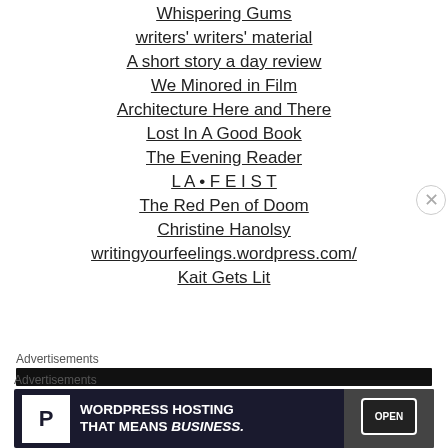Whispering Gums
writers' writers' material
A short story a day review
We Minored in Film
Architecture Here and There
Lost In A Good Book
The Evening Reader
L A • F E I S T
The Red Pen of Doom
Christine Hanolsy
writingyourfeelings.wordpress.com/
Kait Gets Lit
Advertisements
[Figure (other): Dark advertisement bar]
Advertisements
[Figure (other): WordPress Hosting That Means Business advertisement banner with P logo and open sign photo]